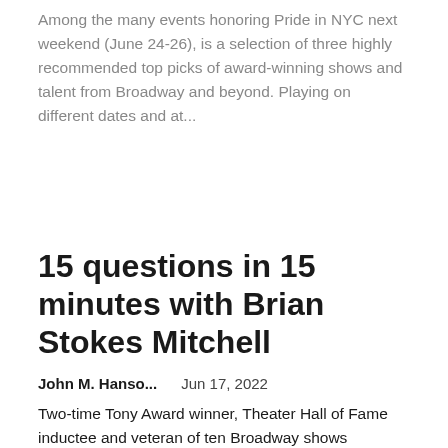Among the many events honoring Pride in NYC next weekend (June 24-26), is a selection of three highly recommended top picks of award-winning shows and talent from Broadway and beyond. Playing on different dates and at...
15 questions in 15 minutes with Brian Stokes Mitchell
John M. Hanso...    Jun 17, 2022
Two-time Tony Award winner, Theater Hall of Fame inductee and veteran of ten Broadway shows (including Ragtime, Man from La Mancha, Kiss me Kateand shuffle along) - and these are just a few of